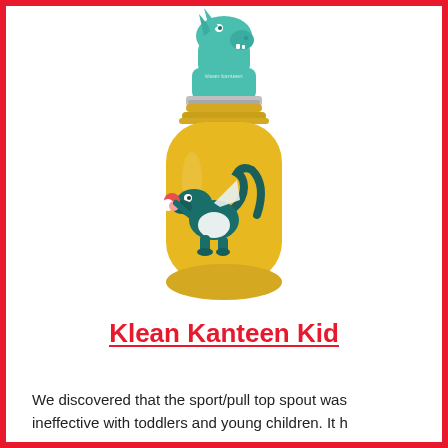[Figure (photo): A yellow stainless steel kids water bottle (Klean Kanteen Kid) with a teal sport/pull top spout cap shaped like a dinosaur head, and a cartoon dragon/dinosaur graphic on the bottle body.]
Klean Kanteen Kid
We discovered that the sport/pull top spout was ineffective with toddlers and young children. It h...